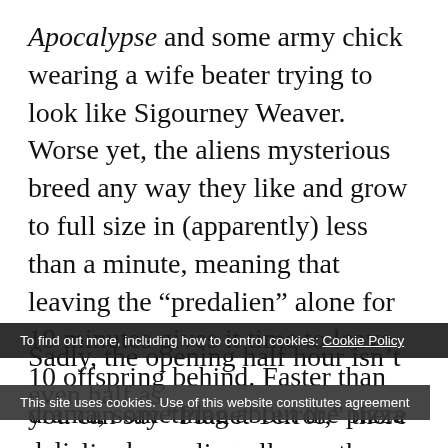Apocalypse and some army chick wearing a wife beater trying to look like Sigourney Weaver. Worse yet, the aliens mysterious breed any way they like and grow to full size in (apparently) less than a minute, meaning that leaving the “predalien” alone for 10 minutes gives it time to leave 10 offspring behind. Faster than you can say “Planet Terror,” there are aliens crawling all over the place.
Sadly, the opening half hour isn’t even half as
drama, something about the pizza delivery boy
To find out more, including how to control cookies: Cookie Policy
This site uses cookies. Use of this website constitutes agreement